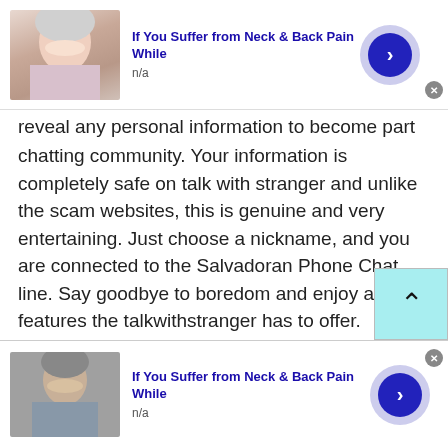[Figure (screenshot): Top advertisement banner: image of woman touching neck, title 'If You Suffer from Neck & Back Pain While', subtitle 'n/a', blue arrow button, close X]
reveal any personal information to become part of the chatting community. Your information is completely safe on talk with stranger and unlike the scam websites, this is genuine and very entertaining. Just choose a nickname, and you are connected to the Salvadoran Phone Chat line. Say goodbye to boredom and enjoy all the features the talkwithstranger has to offer.
Try something different use Salvadoran Phone Chat on talkwithstranger:
[Figure (screenshot): Bottom advertisement banner: image of man touching neck/shoulder, title 'If You Suffer from Neck & Back Pain While', subtitle 'n/a', blue arrow button, close X]